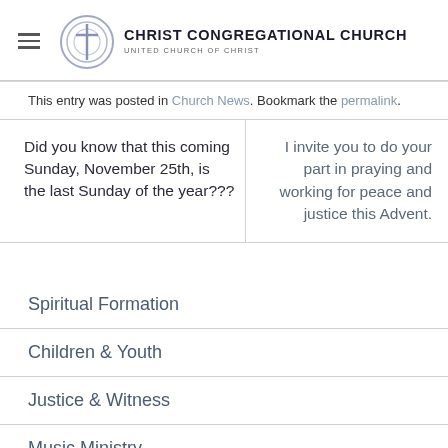Christ Congregational Church — United Church of Christ
This entry was posted in Church News. Bookmark the permalink.
Did you know that this coming Sunday, November 25th, is the last Sunday of the year???
I invite you to do your part in praying and working for peace and justice this Advent.
Spiritual Formation
Children & Youth
Justice & Witness
Music Ministry